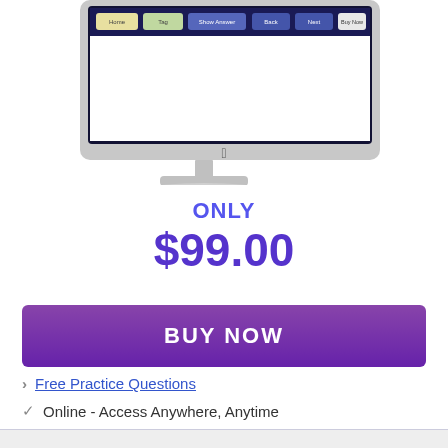[Figure (screenshot): iMac computer monitor displaying a website with navigation bar containing colored buttons including Home, Tag, Show Answer, Back, Next, and Buy Now options on a dark navy background]
ONLY
$99.00
BUY NOW
Free Practice Questions
Online - Access Anywhere, Anytime